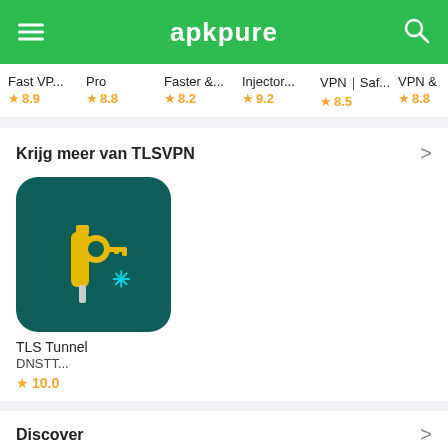apkpure
Fast VP... ★ 8.9
Pro ★ 8.8
Faster &... ★ 8.2
Injector... ★ 9.2
VPN｜Saf... ★ 8.5
VPN & ★ 8.8
Krijg meer van TLSVPN
[Figure (illustration): TLS Tunnel app icon — dark teal background with a yellow syringe/bee and key illustration with a cyan asterisk]
TLS Tunnel
DNSTT...
★ 10.0
Discover
[Figure (illustration): Viber app placeholder — grey Android APK icon]
Viber
[Figure (illustration): Google Drive app placeholder — grey Android APK icon]
Google Drive
[Figure (illustration): Gboard app placeholder — grey Android APK icon]
Gboard: het
[Figure (illustration): Skype app placeholder — grey Android APK icon]
Skype
[Figure (illustration): VK app placeholder — grey Android APK icon]
VK: music,